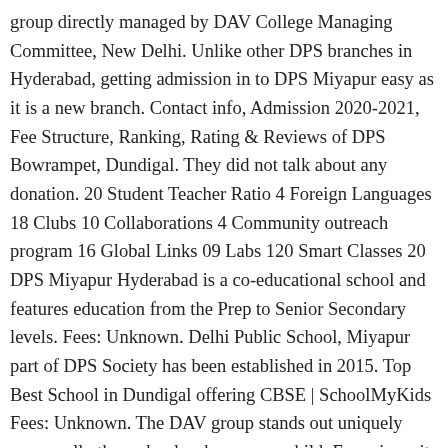group directly managed by DAV College Managing Committee, New Delhi. Unlike other DPS branches in Hyderabad, getting admission in to DPS Miyapur easy as it is a new branch. Contact info, Admission 2020-2021, Fee Structure, Ranking, Rating & Reviews of DPS Bowrampet, Dundigal. They did not talk about any donation. 20 Student Teacher Ratio 4 Foreign Languages 18 Clubs 10 Collaborations 4 Community outreach program 16 Global Links 09 Labs 120 Smart Classes 20 DPS Miyapur Hyderabad is a co-educational school and features education from the Prep to Senior Secondary levels. Fees: Unknown. Delhi Public School, Miyapur part of DPS Society has been established in 2015. Top Best School in Dundigal offering CBSE | SchoolMyKids Fees: Unknown. The DAV group stands out uniquely among all other schools where every child. Ever since, it has earned a very good reputation and currently it … (Child should have been born between 1st January 2013 and 31st December 2013 ), 7 years & 6 months as on 30th of June 2020. We